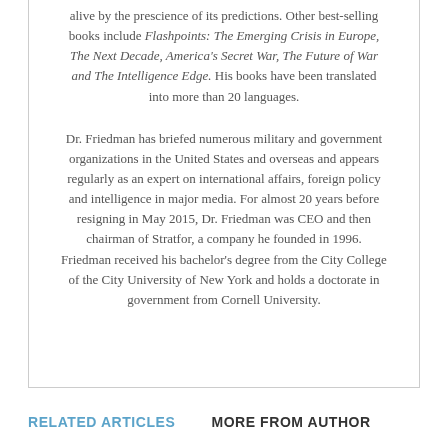alive by the prescience of its predictions. Other best-selling books include Flashpoints: The Emerging Crisis in Europe, The Next Decade, America's Secret War, The Future of War and The Intelligence Edge. His books have been translated into more than 20 languages.
Dr. Friedman has briefed numerous military and government organizations in the United States and overseas and appears regularly as an expert on international affairs, foreign policy and intelligence in major media. For almost 20 years before resigning in May 2015, Dr. Friedman was CEO and then chairman of Stratfor, a company he founded in 1996. Friedman received his bachelor's degree from the City College of the City University of New York and holds a doctorate in government from Cornell University.
RELATED ARTICLES   MORE FROM AUTHOR